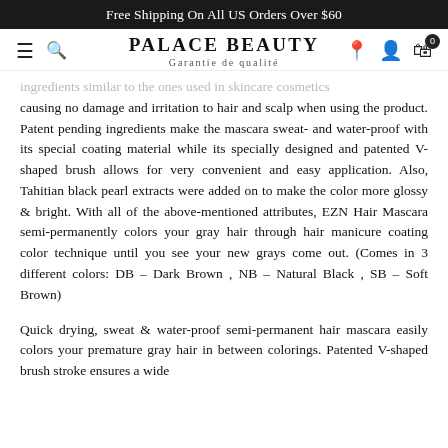Free Shipping On All US Orders Over $60
PALACE BEAUTY
Garantie de qualité
ingredients similar to the ones used in skincare cosmetics causing no damage and irritation to hair and scalp when using the product. Patent pending ingredients make the mascara sweat- and water-proof with its special coating material while its specially designed and patented V-shaped brush allows for very convenient and easy application. Also, Tahitian black pearl extracts were added on to make the color more glossy & bright. With all of the above-mentioned attributes, EZN Hair Mascara semi-permanently colors your gray hair through hair manicure coating color technique until you see your new grays come out. (Comes in 3 different colors: DB – Dark Brown , NB – Natural Black , SB – Soft Brown)
Quick drying, sweat & water-proof semi-permanent hair mascara easily colors your premature gray hair in between colorings. Patented V-shaped brush stroke ensures a wide